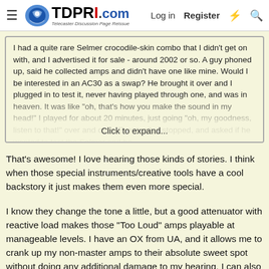TDPRI.com — Telecaster Discussion Page Reissue | Log in | Register
I had a quite rare Selmer crocodile-skin combo that I didn't get on with, and I advertised it for sale - around 2002 or so. A guy phoned up, said he collected amps and didn't have one like mine. Would I be interested in an AC30 as a swap? He brought it over and I plugged in to test it, never having played through one, and was in heaven. It was like "oh, that's how you make the sound in my head!" I played for about 20 minutes, just going "oh, my goodness, listen to that!" over and over. Eventually I stopped, and asked if he wanted to test the Selmer and he... Click to expand...
That's awesome! I love hearing those kinds of stories. I think when those special instruments/creative tools have a cool backstory it just makes them even more special.
I know they change the tone a little, but a good attenuator with reactive load makes those "Too Loud" amps playable at manageable levels. I have an OX from UA, and it allows me to crank up my non-master amps to their absolute sweet spot without doing any additional damage to my hearing. I can also use the OX to play silently through headphones, which my wife an kids often appreciate. Tone King makes some excellent